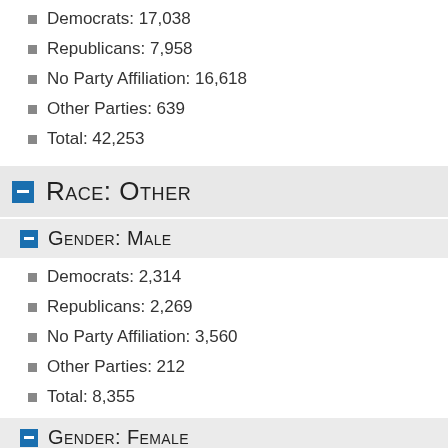Democrats: 17,038
Republicans: 7,958
No Party Affiliation: 16,618
Other Parties: 639
Total: 42,253
Race: Other
Gender: Male
Democrats: 2,314
Republicans: 2,269
No Party Affiliation: 3,560
Other Parties: 212
Total: 8,355
Gender: Female